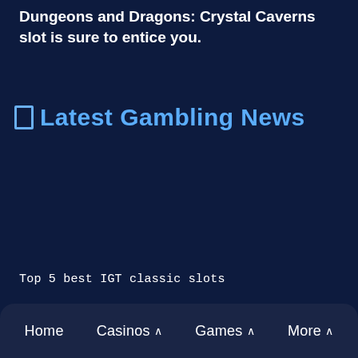Dungeons and Dragons: Crystal Caverns slot is sure to entice you.
🔲 Latest Gambling News
Top 5 best IGT classic slots
Home   Casinos ^   Games ^   More ^